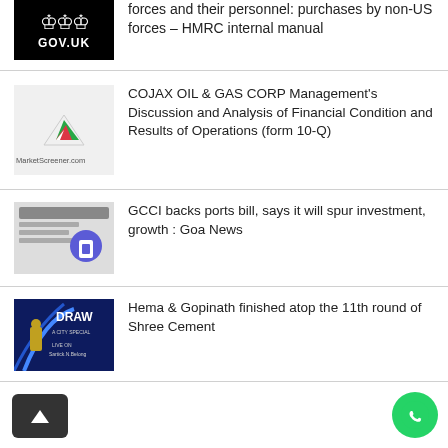forces and their personnel: purchases by non-US forces – HMRC internal manual
COJAX OIL & GAS CORP Management's Discussion and Analysis of Financial Condition and Results of Operations (form 10-Q)
GCCI backs ports bill, says it will spur investment, growth : Goa News
Hema & Gopinath finished atop the 11th round of Shree Cement